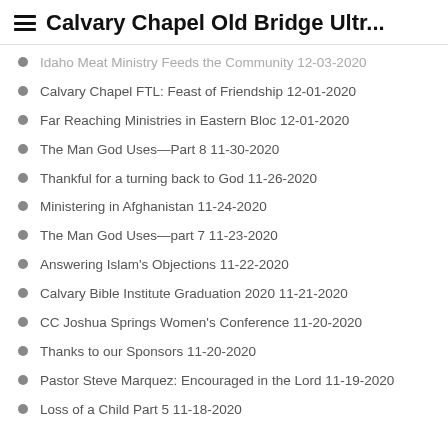Calvary Chapel Old Bridge Ultr...
Idaho Meat Ministry Feeds the Community 12-03-2020
Calvary Chapel FTL: Feast of Friendship 12-01-2020
Far Reaching Ministries in Eastern Bloc 12-01-2020
The Man God Uses—Part 8 11-30-2020
Thankful for a turning back to God 11-26-2020
Ministering in Afghanistan 11-24-2020
The Man God Uses—part 7 11-23-2020
Answering Islam's Objections 11-22-2020
Calvary Bible Institute Graduation 2020 11-21-2020
CC Joshua Springs Women's Conference 11-20-2020
Thanks to our Sponsors 11-20-2020
Pastor Steve Marquez: Encouraged in the Lord 11-19-2020
Loss of a Child Part 5 11-18-2020